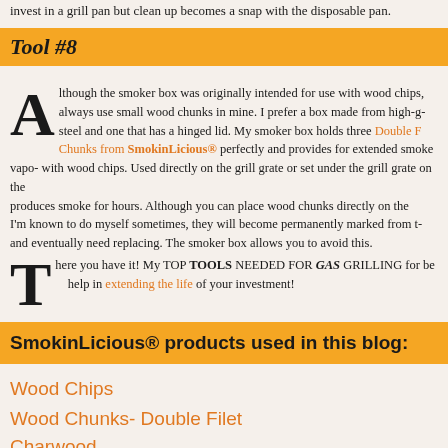invest in a grill pan but clean up becomes a snap with the disposable pan.
Tool #8
Although the smoker box was originally intended for use with wood chips, I always use small wood chunks in mine. I prefer a box made from high-grade steel and one that has a hinged lid. My smoker box holds three Double Filet Chunks from SmokinLicious® perfectly and provides for extended smoke vapor with wood chips. Used directly on the grill grate or set under the grill grate on the produces smoke for hours. Although you can place wood chunks directly on the I'm known to do myself sometimes, they will become permanently marked from the and eventually need replacing. The smoker box allows you to avoid this.
There you have it! My TOP TOOLS NEEDED FOR GAS GRILLING for be help in extending the life of your investment!
SmokinLicious® products used in this blog:
Wood Chips
Wood Chunks- Double Filet
Charwood